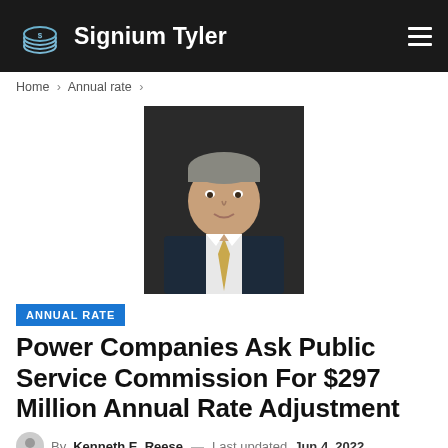Signium Tyler
Home > Annual rate >
[Figure (photo): Professional headshot of a middle-aged man in a dark suit with a yellow tie, light background.]
ANNUAL RATE
Power Companies Ask Public Service Commission For $297 Million Annual Rate Adjustment
By Kenneth E. Reese — Last updated Jun 4, 2022